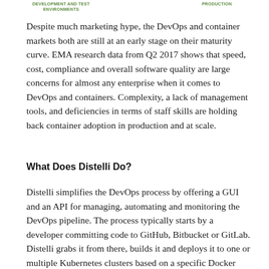[Figure (infographic): Top labels showing 'DEVELOPMENT AND TEST ENVIRONMENTS' on the left and 'PRODUCTION' on the right, in green text, partial view of a diagram header]
Despite much marketing hype, the DevOps and container markets both are still at an early stage on their maturity curve. EMA research data from Q2 2017 shows that speed, cost, compliance and overall software quality are large concerns for almost any enterprise when it comes to DevOps and containers. Complexity, a lack of management tools, and deficiencies in terms of staff skills are holding back container adoption in production and at scale.
What Does Distelli Do?
Distelli simplifies the DevOps process by offering a GUI and an API for managing, automating and monitoring the DevOps pipeline. The process typically starts by a developer committing code to GitHub, Bitbucket or GitLab. Distelli grabs it from there, builds it and deploys it to one or multiple Kubernetes clusters based on a specific Docker image. Distelli integrates with Jenkins and supports the major